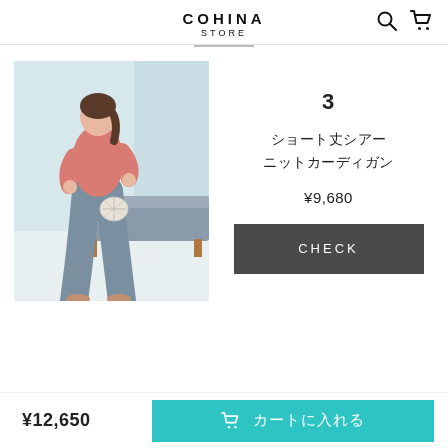COHINA STORE
[Figure (photo): Fashion product photo: a young woman wearing a pink long-sleeve top and wide-leg gray jeans, holding a white woven bag, standing in a light-filled interior with a gray sofa and wooden bench in the background]
3
ショート丈シアーニットカーディガン
¥9,680
CHECK
¥12,650
カートに入れる